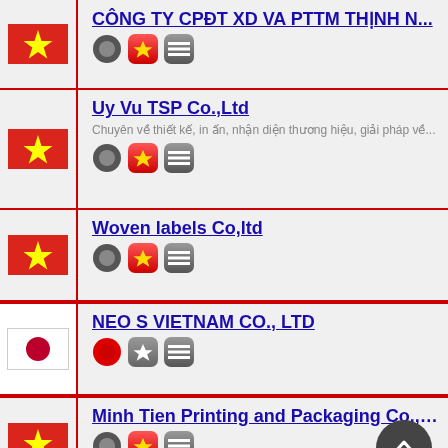CÔNG TY CPĐT XD VA PTTM THỊNH ...
Uy Vu TSP Co.,Ltd — Chuyên về thiết kế, in ấn, nhận diện thương hiệu, giải pháp về...
Woven labels Co,ltd
NEO S VIETNAM CO., LTD
Minh Tien Printing and Packaging Co.,Ltd...